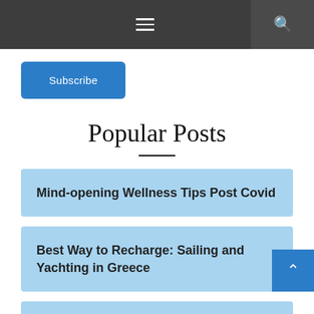Navigation bar with hamburger menu and search icon
Subscribe
Popular Posts
Mind-opening Wellness Tips Post Covid
Best Way to Recharge: Sailing and Yachting in Greece